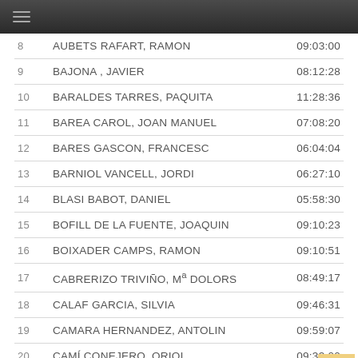Menu header bar
| # | Name | Time |
| --- | --- | --- |
| 8 | AUBETS RAFART, RAMON | 09:03:00 |
| 9 | BAJONA , JAVIER | 08:12:28 |
| 10 | BARALDES TARRES, PAQUITA | 11:28:36 |
| 11 | BAREA CAROL, JOAN MANUEL | 07:08:20 |
| 12 | BARES GASCON, FRANCESC | 06:04:04 |
| 13 | BARNIOL VANCELL, JORDI | 06:27:10 |
| 14 | BLASI BABOT, DANIEL | 05:58:30 |
| 15 | BOFILL DE LA FUENTE, JOAQUIN | 09:10:23 |
| 16 | BOIXADER CAMPS, RAMON | 09:10:51 |
| 17 | CABRERIZO TRIVIÑO, Mª DOLORS | 08:49:17 |
| 18 | CALAF GARCIA, SILVIA | 09:46:31 |
| 19 | CAMARA HERNANDEZ, ANTOLIN | 09:59:07 |
| 20 | CAMÍ CONEJERO, ORIOL | 09:33:00 |
| 21 | CAMPS QUESADA, RAMON | 04:51:18 |